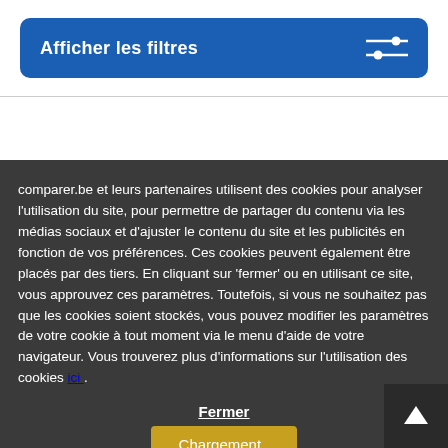[Figure (screenshot): Blue button with text 'Afficher les filtres' and a slider/filter icon on the right]
comparer.be et leurs partenaires utilisent des cookies pour analyser l'utilisation du site, pour permettre de partager du contenu via les médias sociaux et d'ajuster le contenu du site et les publicités en fonction de vos préférences. Ces cookies peuvent également être placés par des tiers. En cliquant sur 'fermer' ou en utilisant ce site, vous approuvez ces paramètres. Toutefois, si vous ne souhaitez pas que les cookies soient stockés, vous pouvez modifier les paramètres de votre cookie à tout moment via le menu d'aide de votre navigateur. Vous trouverez plus d'informations sur l'utilisation des cookies ici .
Fermer
Chargement..